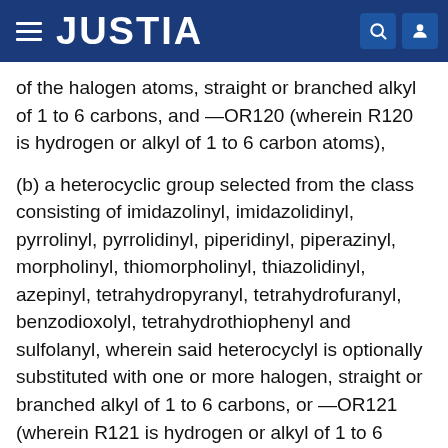JUSTIA
of the halogen atoms, straight or branched alkyl of 1 to 6 carbons, and —OR120 (wherein R120 is hydrogen or alkyl of 1 to 6 carbon atoms),
(b) a heterocyclic group selected from the class consisting of imidazolinyl, imidazolidinyl, pyrrolinyl, pyrrolidinyl, piperidinyl, piperazinyl, morpholinyl, thiomorpholinyl, thiazolidinyl, azepinyl, tetrahydropyranyl, tetrahydrofuranyl, benzodioxolyl, tetrahydrothiophenyl and sulfolanyl, wherein said heterocyclyl is optionally substituted with one or more halogen, straight or branched alkyl of 1 to 6 carbons, or —OR121 (wherein R121 is hydrogen or alkyl of 1 to 6 carbon atoms), or
(c) straight or branched alkyl of 1 to 7 atoms, wherein said alkyl moiety is optionally substituted with one or